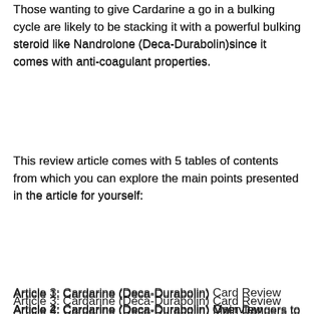Those wanting to give Cardarine a go in a bulking cycle are likely to be stacking it with a powerful bulking steroid like Nandrolone (Deca-Durabolin)since it comes with anti-coagulant properties.
This review article comes with 5 tables of contents from which you can explore the main points presented in the article for yourself:
Article 1: Cardarine (Deca-Durabolin)
Article 2: Cardarine (Deca-Durabolin) Overview
Article 3: Cardarine (Deca-Durabolin) Card Review
Article 4: Cardarine (Deca-Durabolin) Main Dangers to Look Out For